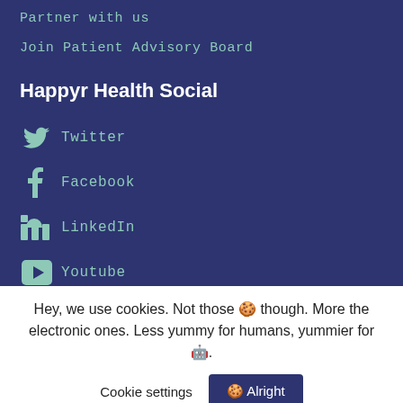Partner with us
Join Patient Advisory Board
Happyr Health Social
Twitter
Facebook
LinkedIn
Youtube
Hey, we use cookies. Not those 🍪 though. More the electronic ones. Less yummy for humans, yummier for 🤖.
Cookie settings  🍪 Alright